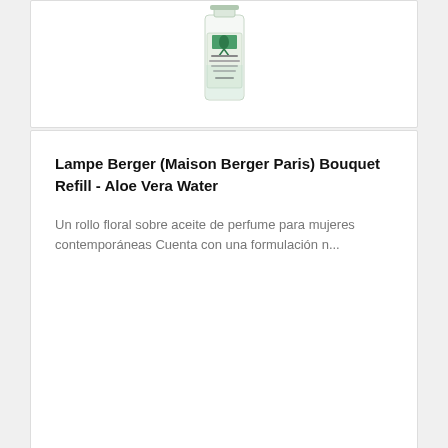[Figure (photo): Partial view of a Lampe Berger Bouquet Refill Aloe Vera Water bottle on a white product card]
Lampe Berger (Maison Berger Paris) Bouquet Refill - Aloe Vera Water
Un rollo floral sobre aceite de perfume para mujeres contemporáneas Cuenta con una formulación n...
200ml
€38.90
AGREGAR A CARRITO
[Figure (photo): Partial view of a second product bottle on a white product card at the bottom]